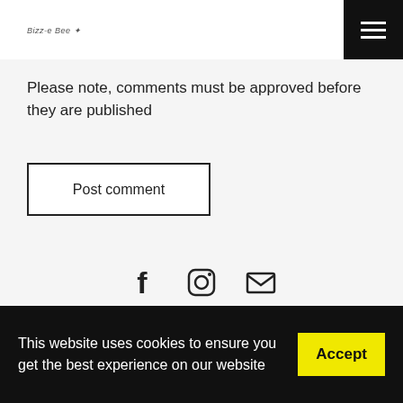Bizz-e Bee
Please note, comments must be approved before they are published
Post comment
[Figure (infographic): Social media icons: Facebook, Instagram, Email]
This website uses cookies to ensure you get the best experience on our website  Accept